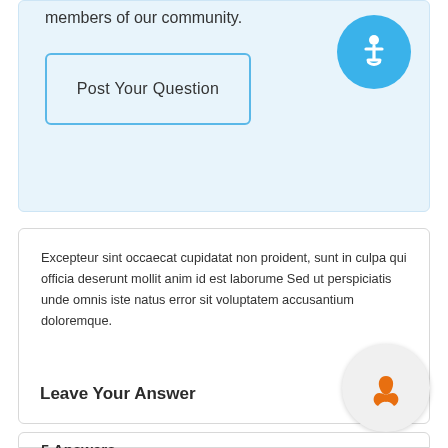members of our community.
Post Your Question
Excepteur sint occaecat cupidatat non proident, sunt in culpa qui officia deserunt mollit anim id est laborume Sed ut perspiciatis unde omnis iste natus error sit voluptatem accusantium doloremque.
Leave Your Answer
5 Answers